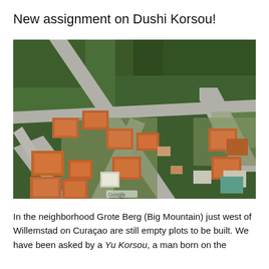New assignment on Dushi Korsou!
[Figure (map): Aerial/satellite Google Maps view of the Grote Berg neighborhood near Willemstad, Curaçao, showing roads, buildings with orange/red rooftops, and green vegetation. A 'Google' watermark is visible at the bottom center.]
In the neighborhood Grote Berg (Big Mountain) just west of Willemstad on Curaçao are still empty plots to be built. We have been asked by a Yu Korsou, a man born on the